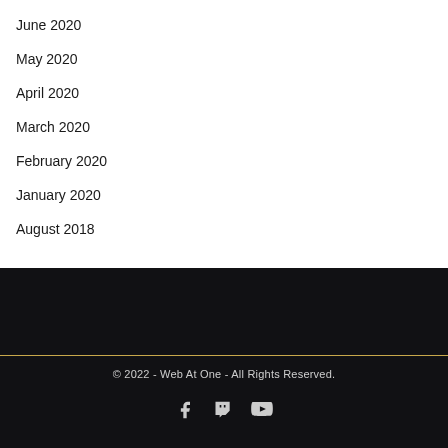June 2020
May 2020
April 2020
March 2020
February 2020
January 2020
August 2018
© 2022 - Web At One - All Rights Reserved.